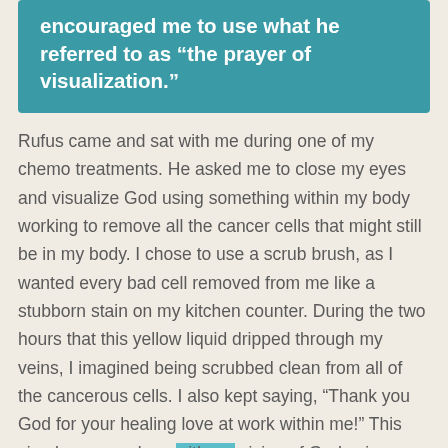encouraged me to use what he referred to as “the prayer of visualization.”
Rufus came and sat with me during one of my chemo treatments. He asked me to close my eyes and visualize God using something within my body working to remove all the cancer cells that might still be in my body. I chose to use a scrub brush, as I wanted every bad cell removed from me like a stubborn stain on my kitchen counter. During the two hours that this yellow liquid dripped through my veins, I imagined being scrubbed clean from all of the cancerous cells. I also kept saying, “Thank you God for your healing love at work within me!” This simple prayer along with my vision of God using a scrub brush to remove the cancer cells was a way